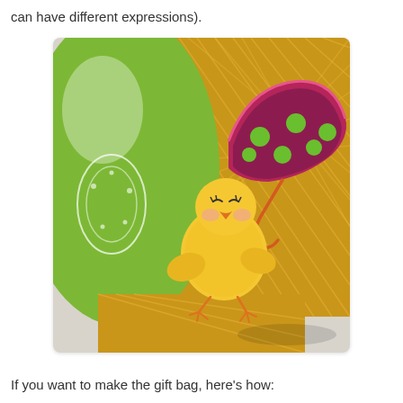can have different expressions).
[Figure (photo): A yellow paper chick craft holding a pink and purple polka-dot umbrella, positioned in front of a decorative gift bag with green patterned oval and yellow diamond-pattern background.]
If you want to make the gift bag, here's how: